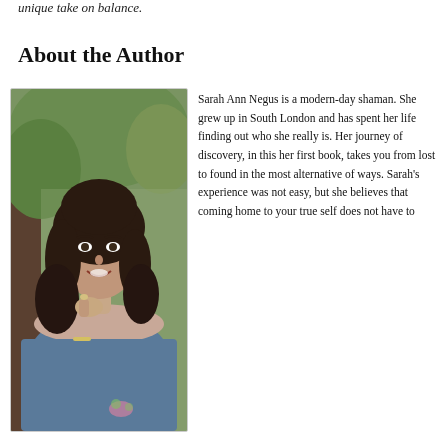unique take on balance.
About the Author
[Figure (photo): Portrait photo of Sarah Ann Negus, a woman with dark shoulder-length hair, smiling, wearing a blue off-shoulder top, posing with hand near chin against a natural outdoor background.]
Sarah Ann Negus is a modern-day shaman. She grew up in South London and has spent her life finding out who she really is. Her journey of discovery, in this her first book, takes you from lost to found in the most alternative of ways. Sarah's experience was not easy, but she believes that coming home to your true self does not have to